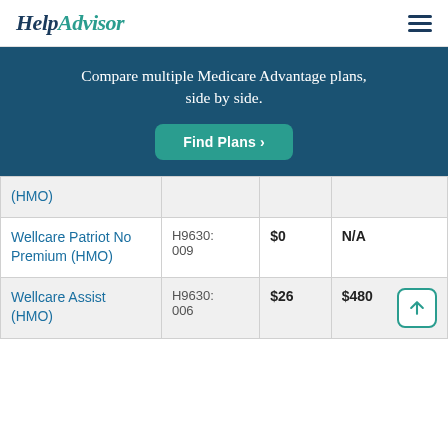HelpAdvisor
Compare multiple Medicare Advantage plans, side by side.
Find Plans >
| Plan Name | Plan ID | Monthly Premium | Drug Deductible |
| --- | --- | --- | --- |
| (HMO) |  |  |  |
| Wellcare Patriot No Premium (HMO) | H9630: 009 | $0 | N/A |
| Wellcare Assist (HMO) | H9630: 006 | $26 | $480 |